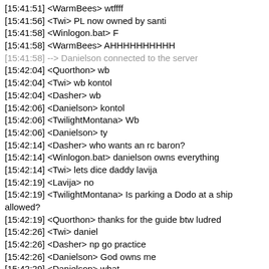[15:41:51] <WarmBees> wtffff
[15:41:56] <Twi> PL now owned by santi
[15:41:58] <Winlogon.bat> F
[15:41:58] <WarmBees> AHHHHHHHHHH
[15:41:58] --> Danielson connected to the server
[15:42:04] <Quorthon> wb
[15:42:04] <Twi> wb kontol
[15:42:04] <Dasher> wb
[15:42:06] <Danielson> kontol
[15:42:06] <TwilightMontana> Wb
[15:42:06] <Danielson> ty
[15:42:14] <Dasher> who wants an rc baron?
[15:42:14] <Winlogon.bat> danielson owns everything
[15:42:14] <Twi> lets dice daddy lavija
[15:42:19] <Lavija> no
[15:42:19] <TwilightMontana> Is parking a Dodo at a ship allowed?
[15:42:19] <Quorthon> thanks for the guide btw ludred
[15:42:26] <Twi> daniel
[15:42:26] <Dasher> np go practice
[15:42:26] <Danielson> God owns me
[15:42:29] <Danielson> what
[15:42:29] <Twi> pickup lines in indo class when
[15:42:34] <Twi> Jesus4Life
[15:42:37] <Danielson> what do u wanna know